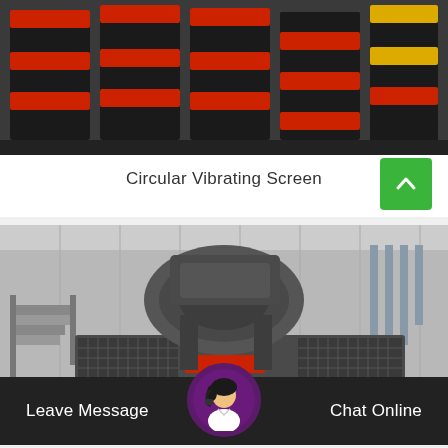[Figure (photo): Photo of stacked vibrating screen panels/media in red and black colors, industrial parts stacked in a warehouse or factory setting.]
Circular Vibrating Screen
[Figure (photo): Photo of a large grey industrial impact crusher machine inside a factory/warehouse. Heavy equipment with mesh grating, motor unit on top, and red label/brand on the front.]
Leave Message
Chat Online